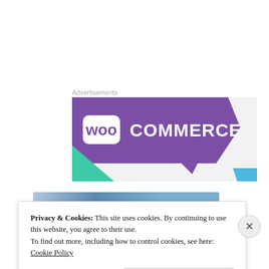Advertisements
[Figure (logo): WooCommerce advertisement banner with purple background, WooCommerce logo in white, teal triangle on left, light blue triangle on lower right]
[Figure (other): Blue gradient banner strip]
Privacy & Cookies: This site uses cookies. By continuing to use this website, you agree to their use.
To find out more, including how to control cookies, see here:
Cookie Policy
Close and accept